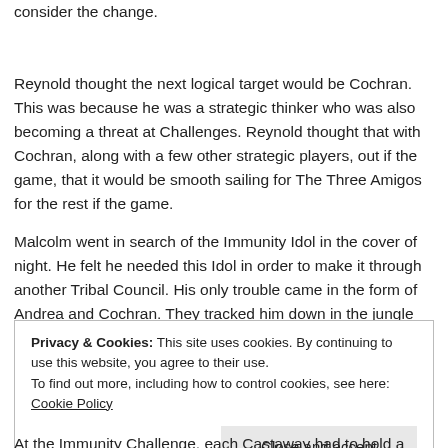consider the change.
Reynold thought the next logical target would be Cochran. This was because he was a strategic thinker who was also becoming a threat at Challenges. Reynold thought that with Cochran, along with a few other strategic players, out if the game, that it would be smooth sailing for The Three Amigos for the rest if the game.
Malcolm went in search of the Immunity Idol in the cover of night. He felt he needed this Idol in order to make it through another Tribal Council. His only trouble came in the form of Andrea and Cochran. They tracked him down in the jungle during his search, and pretty much stopped it cold. He didn't want to have them find it, nor give
Privacy & Cookies: This site uses cookies. By continuing to use this website, you agree to their use.
To find out more, including how to control cookies, see here: Cookie Policy
Close and accept
At the Immunity Challenge, each Castaway had to hold a rope with